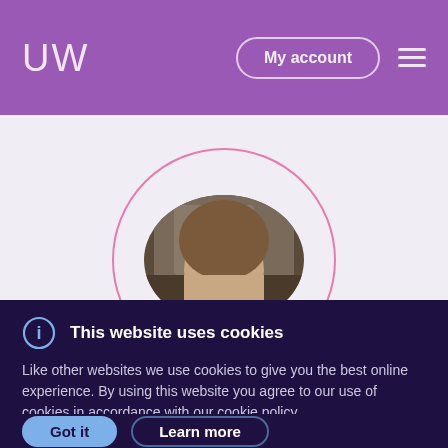[Figure (screenshot): UW website header with purple background, UW logo on left, 'My account' button and hamburger menu on right]
[Figure (photo): Circular profile photo of a person, partially visible, with pink circular outline border on light purple background]
This website uses cookies
Like other websites we use cookies to give you the best online experience. By using this website you agree to our use of cookies in accordance with our cookie policy
Got it
Learn more